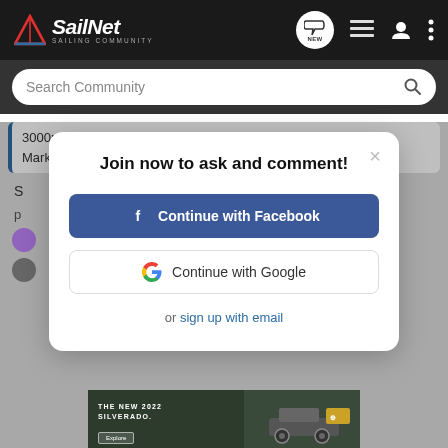SailNet - Sailing Community
Search Community
3000rpm.
Mark
Join now to ask and comment!
Continue with Facebook
Continue with Google
or sign up with email
[Figure (screenshot): Advertisement banner for The New 2022 Silverado by Chevrolet with Explore button]